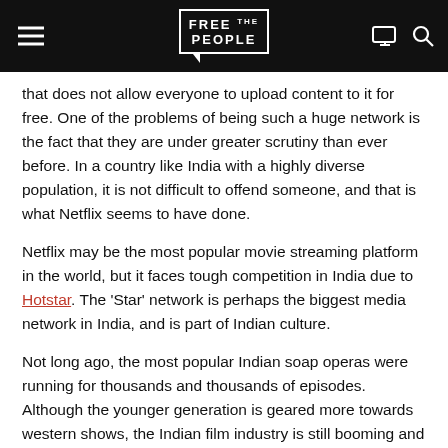FREE THE PEOPLE
that does not allow everyone to upload content to it for free. One of the problems of being such a huge network is the fact that they are under greater scrutiny than ever before. In a country like India with a highly diverse population, it is not difficult to offend someone, and that is what Netflix seems to have done.
Netflix may be the most popular movie streaming platform in the world, but it faces tough competition in India due to Hotstar. The 'Star' network is perhaps the biggest media network in India, and is part of Indian culture.
Not long ago, the most popular Indian soap operas were running for thousands and thousands of episodes. Although the younger generation is geared more towards western shows, the Indian film industry is still booming and has a much bigger market in India than any western movie could.
Recently, both of these networks decided to self-censor. Let's go ahead and take a look at why this